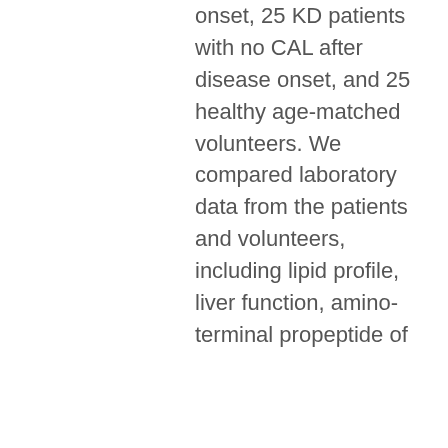onset, 25 KD patients with no CAL after disease onset, and 25 healthy age-matched volunteers. We compared laboratory data from the patients and volunteers, including lipid profile, liver function, amino-terminal propeptide of